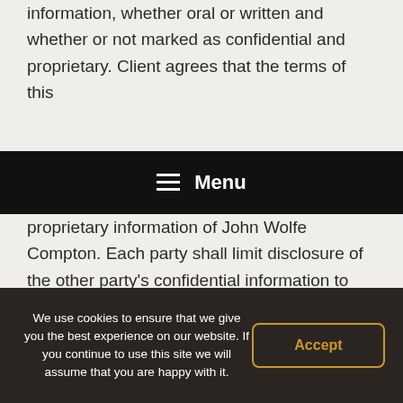information, whether oral or written and whether or not marked as confidential and proprietary. Client agrees that the terms of this
☰ Menu
proprietary information of John Wolfe Compton. Each party shall limit disclosure of the other party's confidential information to employees and contractors with a need to know. During the term of this Agreement and for a period of two (2) years thereafter, neither party shall disclose confidential information of the party to any third party, and shall not use the
We use cookies to ensure that we give you the best experience on our website. If you continue to use this site we will assume that you are happy with it.